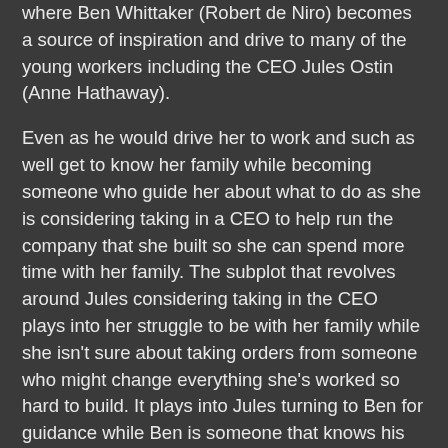where Ben Whittaker (Robert de Niro) becomes a source of inspiration and drive to many of the young workers including the CEO Jules Ostin (Anne Hathaway).
Even as he would drive her to work and such as well get to know her family while becoming someone who guide her about what to do as she is considering taking in a CEO to help run the company that she built so she can spend more time with her family. The subplot that revolves around Jules considering taking in the CEO plays into her struggle to be with her family while she isn't sure about taking orders from someone who might change everything she's worked so hard to build. It plays into Jules turning to Ben for guidance while Ben is someone that knows his role but also give other younger interns the chance to express themselves more where they help him deal with the new world he is in. At the same time, he meets a middle-aged masseuse in Fiona (Rene Russo) as they share similarities in not just aging but also proving that they still have something to live for.
Meyers' direction is quite simple where she doesn't really go for any stylish visual traits as it's really more about the world...